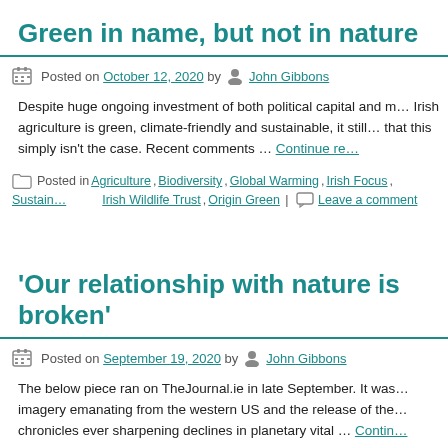Green in name, but not in nature
Posted on October 12, 2020 by John Gibbons
Despite huge ongoing investment of both political capital and m… Irish agriculture is green, climate-friendly and sustainable, it still… that this simply isn't the case. Recent comments … Continue re…
Posted in Agriculture, Biodiversity, Global Warming, Irish Focus, Sustain… Irish Wildlife Trust, Origin Green | Leave a comment
'Our relationship with nature is broken'
Posted on September 19, 2020 by John Gibbons
The below piece ran on TheJournal.ie in late September. It was… imagery emanating from the western US and the release of the… chronicles ever sharpening declines in planetary vital … Contin…
Posted in Agriculture, Biodiversity, Global Warming, Habitat/Species | Leave a comment